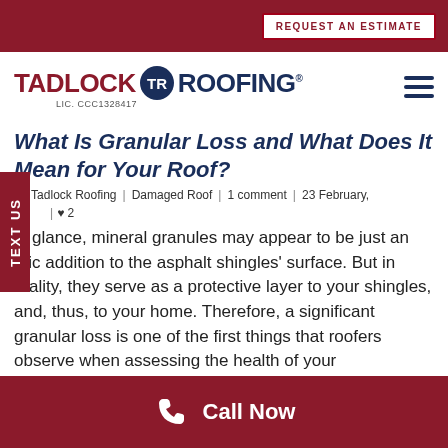REQUEST AN ESTIMATE
[Figure (logo): Tadlock Roofing logo with circular TR emblem, LIC. CCC1328417, and hamburger menu icon]
What Is Granular Loss and What Does It Mean for Your Roof?
By Tadlock Roofing | Damaged Roof | 1 comment | 23 February, | ♥ 2
...st glance, mineral granules may appear to be just an ...etic addition to the asphalt shingles' surface. But in reality, they serve as a protective layer to your shingles, and, thus, to your home. Therefore, a significant granular loss is one of the first things that roofers observe when assessing the health of your
Call Now